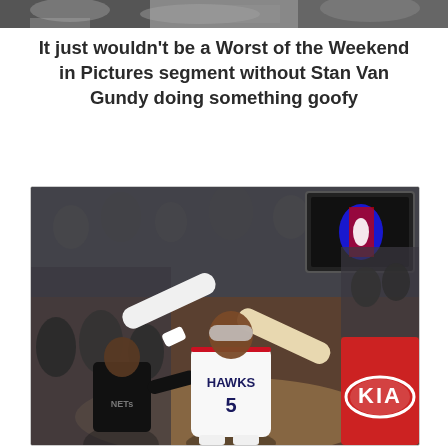[Figure (photo): Cropped sports photograph at the top of the page showing a crowd/players partial view]
It just wouldn't be a Worst of the Weekend in Pictures segment without Stan Van Gundy doing something goofy
[Figure (photo): Atlanta Hawks player #5 celebrating with arms raised wide in an NBA game. A New Jersey Nets player is visible on the left. A KIA advertisement is visible on the right. The NBA logo scoreboard is visible in the upper right.]